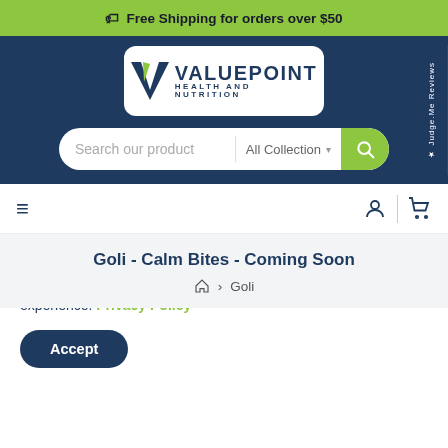Free Shipping for orders over $50
[Figure (logo): ValuePoint Health and Nutrition logo with dark navy V checkmark and green accent]
Search our product | All Collection
Judge.Me Reviews
Goli - Calm Bites - Coming Soon
Home > Goli
We use cookies to offer you the most relevant and the best user experience. Privacy Policy
Accept